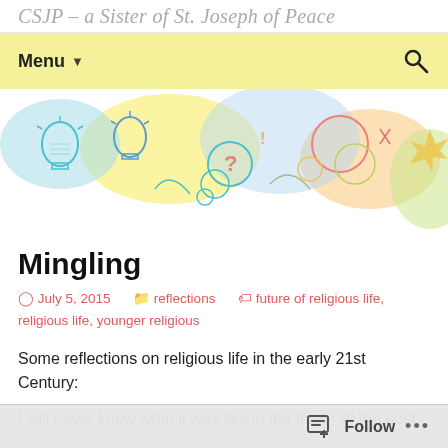CSJP – a Sister of St. Joseph of Peace
Menu
[Figure (illustration): Colorful hand-drawn style banner illustration with doodles: light bulbs, thought bubbles, question marks, abstract shapes in blue, orange, yellow, green, teal colors]
Mingling
July 5, 2015   reflections   future of religious life, religious life, younger religious
Some reflections on religious life in the early 21st Century:
I will never know what it was like in the fervor of the post
Follow ...